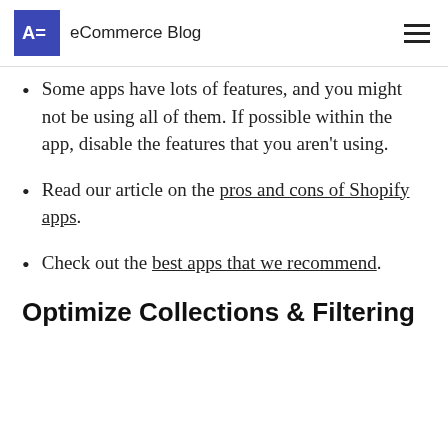eCommerce Blog
Some apps have lots of features, and you might not be using all of them. If possible within the app, disable the features that you aren't using.
Read our article on the pros and cons of Shopify apps.
Check out the best apps that we recommend.
Optimize Collections & Filtering